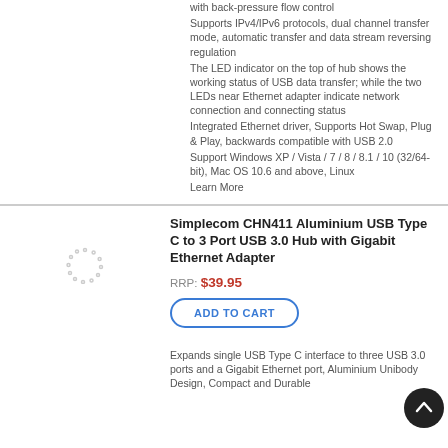with back-pressure flow control
Supports IPv4/IPv6 protocols, dual channel transfer mode, automatic transfer and data stream reversing regulation
The LED indicator on the top of hub shows the working status of USB data transfer; while the two LEDs near Ethernet adapter indicate network connection and connecting status
Integrated Ethernet driver, Supports Hot Swap, Plug & Play, backwards compatible with USB 2.0
Support Windows XP / Vista / 7 / 8 / 8.1 / 10 (32/64-bit), Mac OS 10.6 and above, Linux
Learn More
Simplecom CHN411 Aluminium USB Type C to 3 Port USB 3.0 Hub with Gigabit Ethernet Adapter
RRP: $39.95
ADD TO CART
Expands single USB Type C interface to three USB 3.0 ports and a Gigabit Ethernet port, Aluminium Unibody Design, Compact and Durable